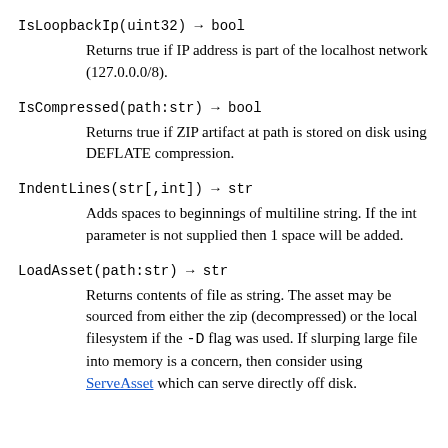IsLoopbackIp(uint32) → bool
Returns true if IP address is part of the localhost network (127.0.0.0/8).
IsCompressed(path:str) → bool
Returns true if ZIP artifact at path is stored on disk using DEFLATE compression.
IndentLines(str[,int]) → str
Adds spaces to beginnings of multiline string. If the int parameter is not supplied then 1 space will be added.
LoadAsset(path:str) → str
Returns contents of file as string. The asset may be sourced from either the zip (decompressed) or the local filesystem if the -D flag was used. If slurping large file into memory is a concern, then consider using ServeAsset which can serve directly off disk.